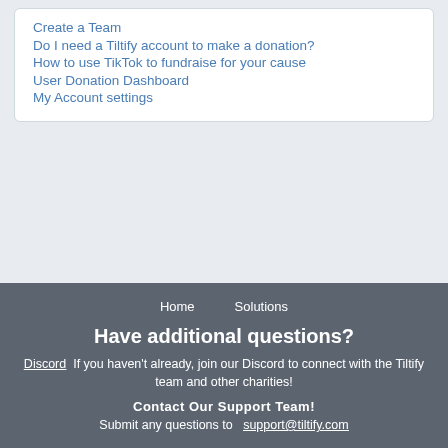Create a Team
Do I need a Tiltify account to make a donation?
How to use TikTok to fundraise for your cause
User Donation Dashboard
My Account settings
Home   Solutions
Have additional questions?
Discord  If you haven't already, join our Discord to connect with the Tiltify team and other charities!
Contact Our Support Team!
Submit any questions to  support@tiltify.com